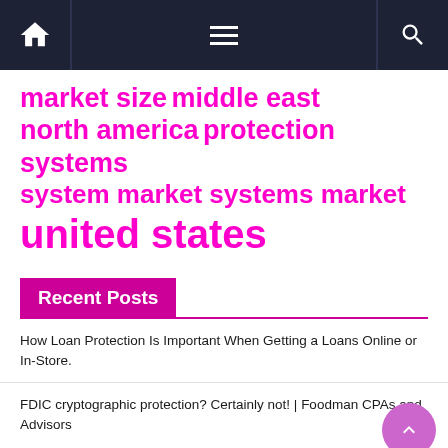Navigation bar with home, menu, and search icons
market size  middle east  north america  protection systems  system market  systems market  united states
Recent Posts
How Loan Protection Is Important When Getting a Loans Online or In-Store.
FDIC cryptographic protection? Certainly not! | Foodman CPAs and Advisors